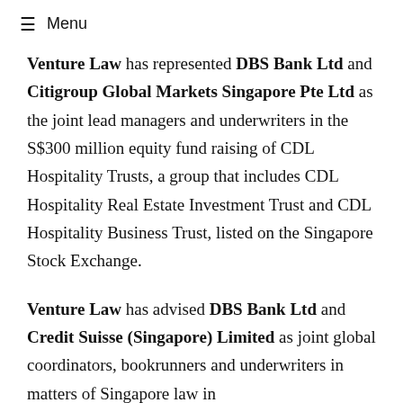☰  Menu
Venture Law has represented DBS Bank Ltd and Citigroup Global Markets Singapore Pte Ltd as the joint lead managers and underwriters in the S$300 million equity fund raising of CDL Hospitality Trusts, a group that includes CDL Hospitality Real Estate Investment Trust and CDL Hospitality Business Trust, listed on the Singapore Stock Exchange.
Venture Law has advised DBS Bank Ltd and Credit Suisse (Singapore) Limited as joint global coordinators, bookrunners and underwriters in matters of Singapore law in